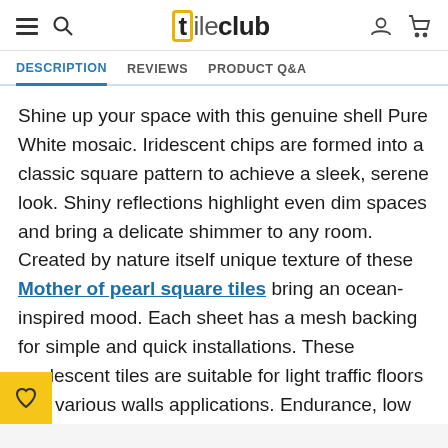[t]ileclub
DESCRIPTION | REVIEWS | PRODUCT Q&A
Shine up your space with this genuine shell Pure White mosaic. Iridescent chips are formed into a classic square pattern to achieve a sleek, serene look. Shiny reflections highlight even dim spaces and bring a delicate shimmer to any room. Created by nature itself unique texture of these Mother of pearl square tiles bring an ocean-inspired mood. Each sheet has a mesh backing for simple and quick installations. These opalescent tiles are suitable for light traffic floors and various walls applications. Endurance, low maintenance, and environmental value make them a popular choice for kitchens bathrooms, guest rooms, bedrooms, dining rooms and so on. Whether you plan covering the entire area or creating a shiny accent,